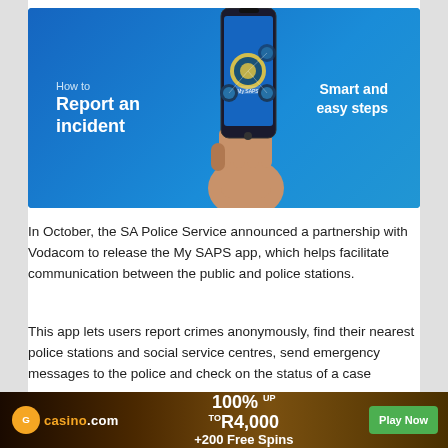[Figure (illustration): Blue banner image showing a hand holding a smartphone displaying the My SAPS app. Text on left reads 'How to Report an incident', text on right reads 'Smart and easy steps'.]
In October, the SA Police Service announced a partnership with Vodacom to release the My SAPS app, which helps facilitate communication between the public and police stations.
This app lets users report crimes anonymously, find their nearest police stations and social service centres, send emergency messages to the police and check on the status of a case
[Figure (infographic): Casino.com advertisement banner. Orange circle logo with 'G' on left, casino.com text, center text: 100% up to R4,000 +200 Free Spins, green Play Now button on right.]